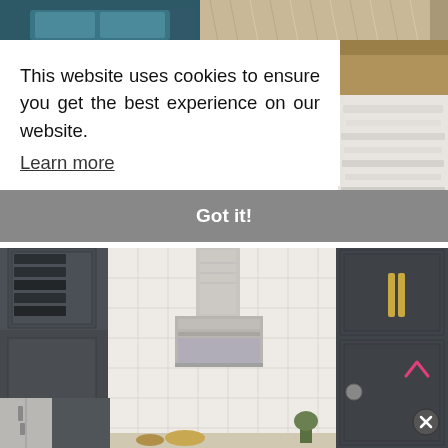[Figure (photo): Top portion of a lifestyle/interior photo showing a teal/dark blue sofa and a textured rug, partially obscured by a cookie consent overlay]
This website uses cookies to ensure you get the best experience on our website.
Learn more
Got it!
[Figure (photo): Kitchen interior with dark grey/charcoal painted cabinets with gold hardware, white subway tile backsplash, stainless steel range hood, refrigerator on the left side, and kitchen items on the counter]